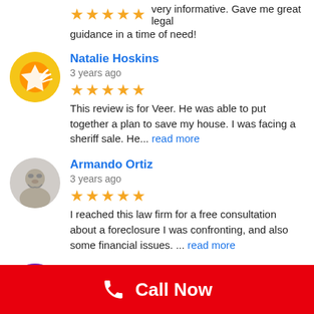very informative. Gave me great legal guidance in a time of need!
Natalie Hoskins
3 years ago
★★★★★ This review is for Veer. He was able to put together a plan to save my house. I was facing a sheriff sale. He... read more
Armando Ortiz
3 years ago
★★★★★ I reached this law firm for a free consultation about a foreclosure I was confronting, and also some financial issues. ... read more
Edward Stack
3 years ago
★★★★★ I appreciate very much the service I am receiving with regards to my case. Mr. Patel and his staff have been so kind... read more
Call Now